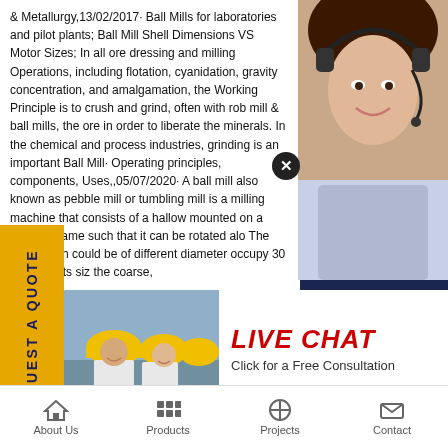& Metallurgy,13/02/2017· Ball Mills for laboratories and pilot plants; Ball Mill Shell Dimensions VS Motor Sizes; In all ore dressing and milling Operations, including flotation, cyanidation, gravity concentration, and amalgamation, the Working Principle is to crush and grind, often with rob mill & ball mills, the ore in order to liberate the minerals. In the chemical and process industries, grinding is an important Ball Mill· Operating principles, components, Uses,,05/07/2020· A ball mill also known as pebble mill or tumbling mill is a milling machine that consists of a hallow mounted on a metallic frame such that it can be rotated alo The balls which could be of different diameter occupy 30 – he and its siz the coarse,
[Figure (photo): Customer service representative with headset smiling]
[Figure (infographic): Live Chat popup with workers in hard hats, red LIVE CHAT text, Chat now and Chat later buttons]
[Figure (photo): Mining/crushing equipment machinery]
REQUEST A QUOTE
have any requests, ick here.
Quotation
Enquiry
drobilkalm@gmail.com
About Us   Products   Projects   Contact